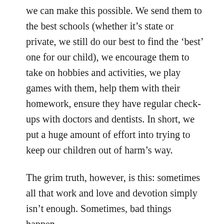we can make this possible. We send them to the best schools (whether it's state or private, we still do our best to find the 'best' one for our child), we encourage them to take on hobbies and activities, we play games with them, help them with their homework, ensure they have regular check-ups with doctors and dentists. In short, we put a huge amount of effort into trying to keep our children out of harm's way.
The grim truth, however, is this: sometimes all that work and love and devotion simply isn't enough. Sometimes, bad things happen.
When your child is severely depressed, they are neither happy nor healthy. They are not safe from harm. They are suffering from a debilitating illness that...